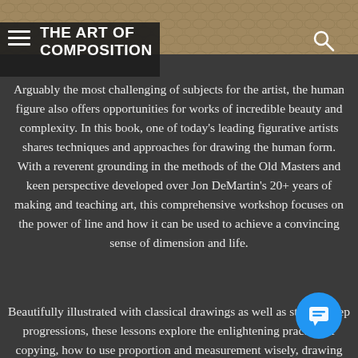[Figure (photo): Textured background photo, possibly fabric or snake skin, visible at top of page]
THE ART OF COMPOSITION
Arguably the most challenging of subjects for the artist, the human figure also offers opportunities for works of incredible beauty and complexity. In this book, one of today's leading figurative artists shares techniques and approaches for drawing the human form. With a reverent grounding in the methods of the Old Masters and keen perspective developed over Jon DeMartin's 20+ years of making and teaching art, this comprehensive workshop focuses on the power of line and how it can be used to achieve a convincing sense of dimension and life.
Beautifully illustrated with classical drawings as well as step-by-step progressions, these lessons explore the enlightening practice of copying, how to use proportion and measurement wisely, drawing the and its features, rendering the figure in motion, short-